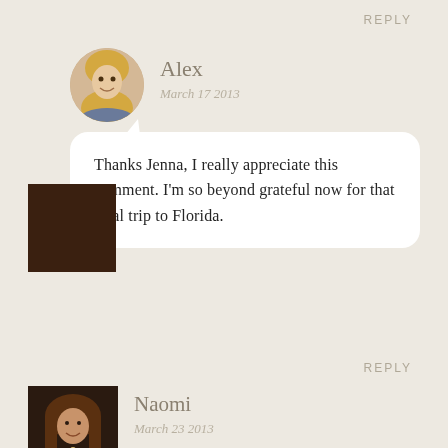REPLY
[Figure (photo): Round avatar photo of Alex, a blonde woman smiling]
Alex
March 17 2013
Thanks Jenna, I really appreciate this comment. I'm so beyond grateful now for that final trip to Florida.
REPLY
[Figure (photo): Square avatar photo of Naomi, a woman with long hair smiling]
Naomi
March 23 2013
I remember reading this post first time round and it struck a chord with me as I had just said